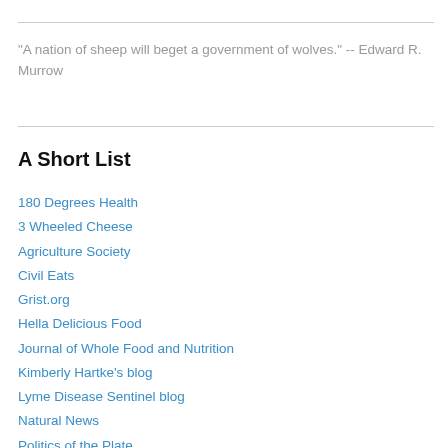"A nation of sheep will beget a government of wolves." -- Edward R. Murrow
A Short List
180 Degrees Health
3 Wheeled Cheese
Agriculture Society
Civil Eats
Grist.org
Hella Delicious Food
Journal of Whole Food and Nutrition
Kimberly Hartke's blog
Lyme Disease Sentinel blog
Natural News
Politics of the Plate
The Compete Patient